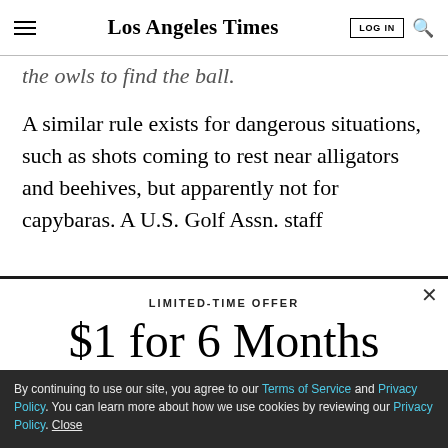Los Angeles Times
the owls to find the ball.
A similar rule exists for dangerous situations, such as shots coming to rest near alligators and beehives, but apparently not for capybaras. A U.S. Golf Assn. staff
LIMITED-TIME OFFER
$1 for 6 Months
SUBSCRIBE NOW
By continuing to use our site, you agree to our Terms of Service and Privacy Policy. You can learn more about how we use cookies by reviewing our Privacy Policy. Close